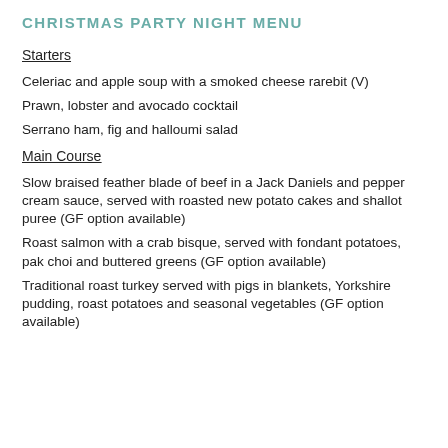CHRISTMAS PARTY NIGHT MENU
Starters
Celeriac and apple soup with a smoked cheese rarebit (V)
Prawn, lobster and avocado cocktail
Serrano ham, fig and halloumi salad
Main Course
Slow braised feather blade of beef in a Jack Daniels and pepper cream sauce, served with roasted new potato cakes and shallot puree (GF option available)
Roast salmon with a crab bisque, served with fondant potatoes, pak choi and buttered greens (GF option available)
Traditional roast turkey served with pigs in blankets, Yorkshire pudding, roast potatoes and seasonal vegetables (GF option available)